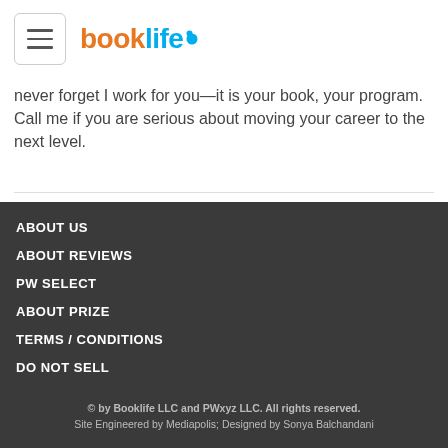booklife
never forget I work for you—it is your book, your program.  Call me if you are serious about moving your career to the next level.
ABOUT US
ABOUT REVIEWS
PW SELECT
ABOUT PRIZE
TERMS / CONDITIONS
DO NOT SELL
© by Booklife LLC and PWxyz LLC. All rights reserved.
Site Engineered by Mediapolis; Designed by Sonya Balchandani